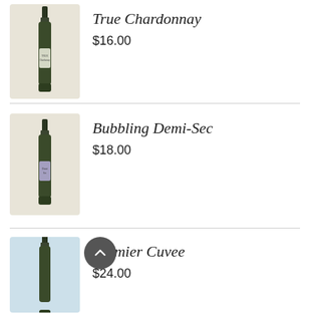[Figure (photo): Wine bottle with beige/cream background - True Chardonnay]
True Chardonnay
$16.00
[Figure (photo): Wine bottle with beige/cream background - Bubbling Demi-Sec]
Bubbling Demi-Sec
$18.00
[Figure (photo): Wine bottle with light blue background - Premier Cuvee]
Premier Cuvee
$24.00